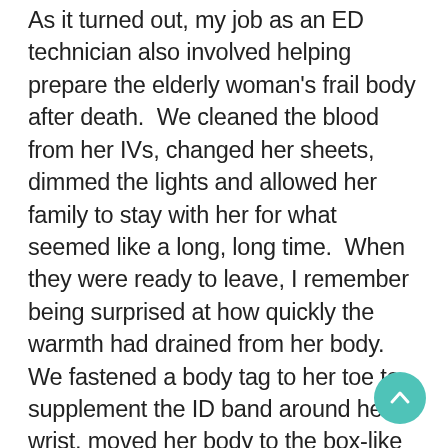As it turned out, my job as an ED technician also involved helping prepare the elderly woman's frail body after death.  We cleaned the blood from her IVs, changed her sheets, dimmed the lights and allowed her family to stay with her for what seemed like a long, long time.  When they were ready to leave, I remember being surprised at how quickly the warmth had drained from her body.  We fastened a body tag to her toe to supplement the ID band around her wrist, moved her body to the box-like morgue stretcher, and draped it with a clean white sheet.  A more experienced ED technician led the way to the morgue where we opened a small door the size of a college dorm-room refrigerator, transferred her body to a metal slide, pushed her inside, closed the door and affixed another label to the door's tag slot.